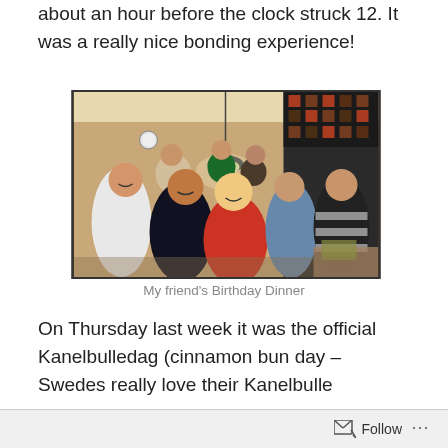about an hour before the clock struck 12. It was a really nice bonding experience!
[Figure (photo): Group photo of approximately 10 young people gathered together in a kitchen/dining room setting, smiling at the camera. A hanging lamp is visible above them. The room has patterned curtains/blinds visible in the background.]
My friend's Birthday Dinner
On Thursday last week it was the official Kanelbulledag (cinnamon bun day – Swedes really love their Kanelbulle
Follow ...